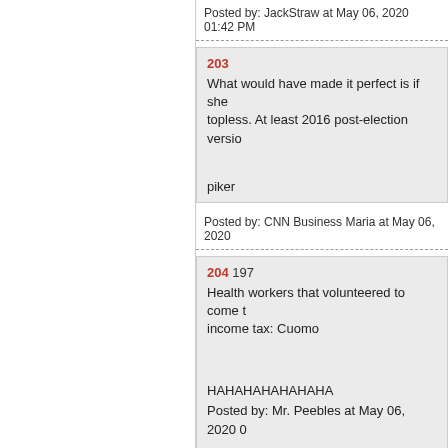Posted by: JackStraw at May 06, 2020 01:42 PM
203
What would have made it perfect is if she topless. At least 2016 post-election version

piker
Posted by: CNN Business Maria at May 06, 2020
204 197
Health workers that volunteered to come to income tax: Cuomo

HAHAHAHAHAHAHA
Posted by: Mr. Peebles at May 06, 2020 0

==========

"Cuomo really is the best governor, and I Now, to vote for Democrats."